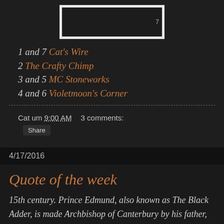[Figure (photo): A postage stamp image showing jewelry/beads on a dark background with the number 7 visible]
1 and 7 Cat's Wire
2 The Crafty Chimp
3 and 5 MC Stoneworks
4 and 6 Violetmoon's Corner
Cat um 9:00 AM    3 comments:
Share
4/17/2016
Quote of the week
15th century. Prince Edmund, also known as The Black Adder, is made Archbishop of Canterbury by his father, the king, who wants to make sure no more rich people leave their land to the church hoping they make it to heaven